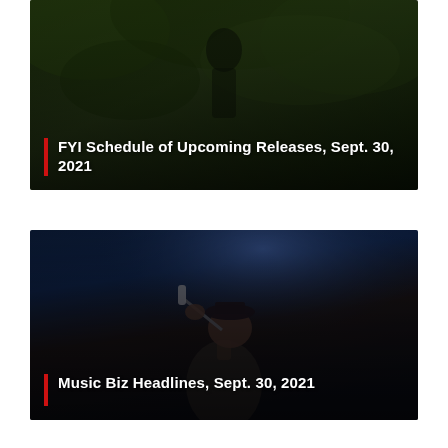[Figure (photo): Dark forest/jungle background photo with green foliage]
FYI Schedule of Upcoming Releases, Sept. 30, 2021
[Figure (photo): Concert photo of a male singer performing with microphone under blue stage lighting]
Music Biz Headlines, Sept. 30, 2021
[Figure (photo): Portrait photo of a person with dreadlocks against a dark red background]